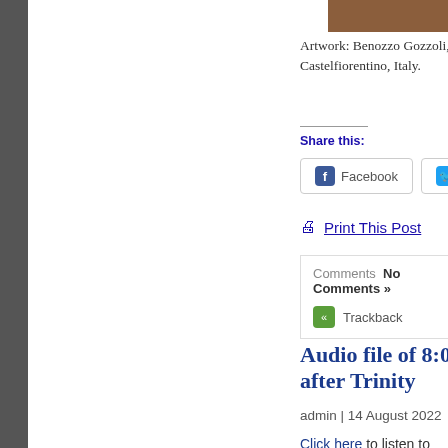Artwork: Benozzo Gozzoli, Castelfiorentino, Italy.
Share this:
[Figure (other): Facebook and Twitter share buttons]
Print This Post
Comments  No Comments »
Trackback
Audio file of 8:0... after Trinity
admin | 14 August 2022
Click here to listen to an au...